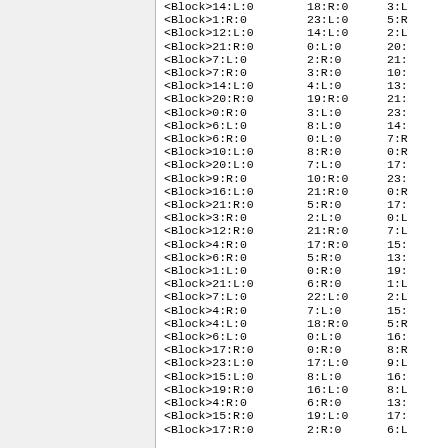Code/data listing showing block identifiers and node references in columns: <Block>N:L/R:0, node:L/R:0, node:L/R:0